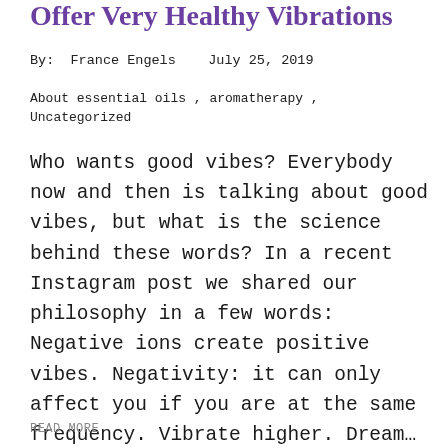Offer Very Healthy Vibrations
By: France Engels   July 25, 2019
About essential oils , aromatherapy , Uncategorized
Who wants good vibes? Everybody now and then is talking about good vibes, but what is the science behind these words? In a recent Instagram post we shared our philosophy in a few words: Negative ions create positive vibes. Negativity: it can only affect you if you are at the same frequency. Vibrate higher. Dream...
READ MORE